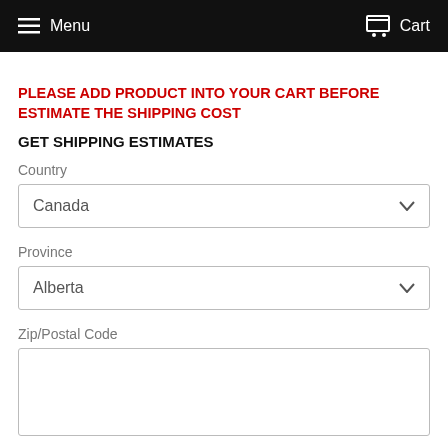Menu   Cart
PLEASE ADD PRODUCT INTO YOUR CART BEFORE ESTIMATE THE SHIPPING COST
GET SHIPPING ESTIMATES
Country
Canada
Province
Alberta
Zip/Postal Code
Calculate shipping